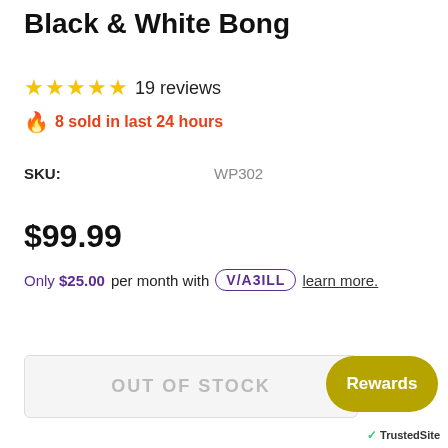Black & White Bong
★★★★★ 19 reviews
🔥 8 sold in last 24 hours
SKU: WP302
$99.99
Only $25.00 per month with VIABILL learn more.
OUT OF STOCK
Rewards
✓ TrustedSite